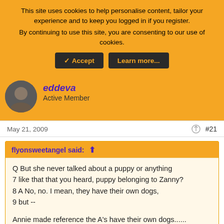This site uses cookies to help personalise content, tailor your experience and to keep you logged in if you register.
By continuing to use this site, you are consenting to our use of cookies.
eddeva
Active Member
May 21, 2009
#21
flyonsweetangel said: ↑
Q But she never talked about a puppy or anything
7 like that that you heard, puppy belonging to Zanny?
8 A No, no. I mean, they have their own dogs,
9 but --

Annie made reference the A's have their own dogs...... Remember the little dogs they have???? We saw them carrying them out to a vehicle